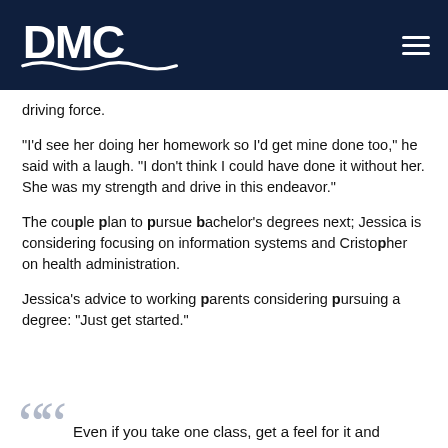DMC
driving force.
“I’d see her doing her homework so I’d get mine done too,” he said with a laugh. “I don’t think I could have done it without her. She was my strength and drive in this endeavor.”
The couple plan to pursue bachelor’s degrees next; Jessica is considering focusing on information systems and Christopher on health administration.
Jessica’s advice to working parents considering pursuing a degree: “Just get started.”
Even if you take one class, get a feel for it and